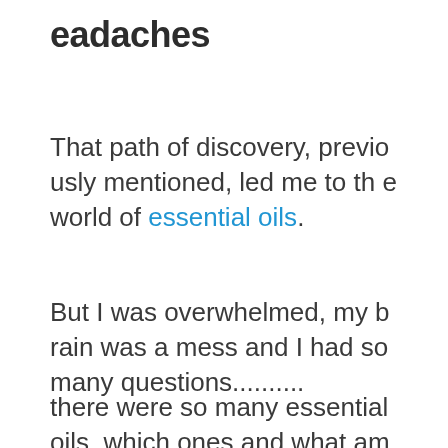eadaches
That path of discovery, previously mentioned, led me to the world of essential oils.
But I was overwhelmed, my brain was a mess and I had so many questions..........
there were so many essential oils, which ones and what amount or dose of each would I